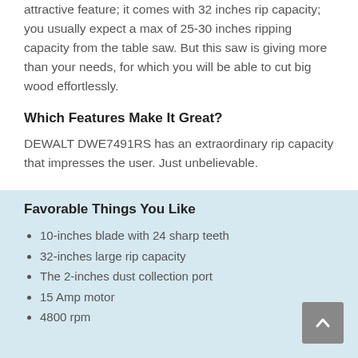attractive feature; it comes with 32 inches rip capacity; you usually expect a max of 25-30 inches ripping capacity from the table saw. But this saw is giving more than your needs, for which you will be able to cut big wood effortlessly.
Which Features Make It Great?
DEWALT DWE7491RS has an extraordinary rip capacity that impresses the user. Just unbelievable.
Favorable Things You Like
10-inches blade with 24 sharp teeth
32-inches large rip capacity
The 2-inches dust collection port
15 Amp motor
4800 rpm